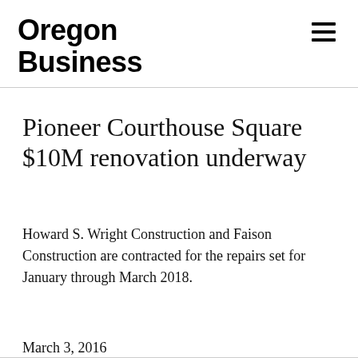Oregon Business
Pioneer Courthouse Square $10M renovation underway
Howard S. Wright Construction and Faison Construction are contracted for the repairs set for January through March 2018.
March 3, 2016
Published in News